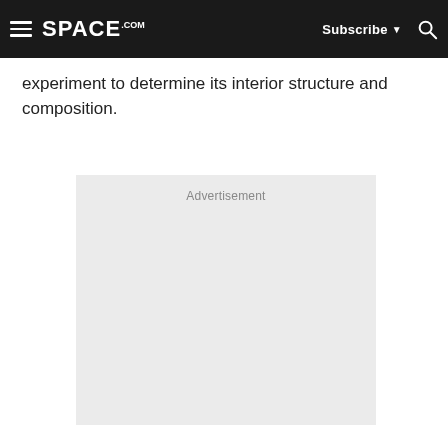SPACE.com — Subscribe | Search
experiment to determine its interior structure and composition.
[Figure (other): Advertisement placeholder box with label 'Advertisement']